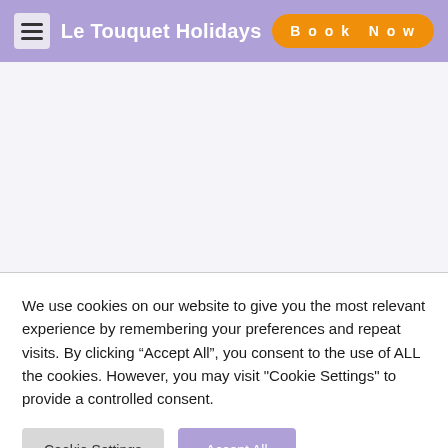Le Touquet Holidays
[Figure (other): Hero/banner area — blank white/light lavender content region below the navigation header]
We use cookies on our website to give you the most relevant experience by remembering your preferences and repeat visits. By clicking “Accept All”, you consent to the use of ALL the cookies. However, you may visit "Cookie Settings" to provide a controlled consent.
Cookie Settings
Accept All